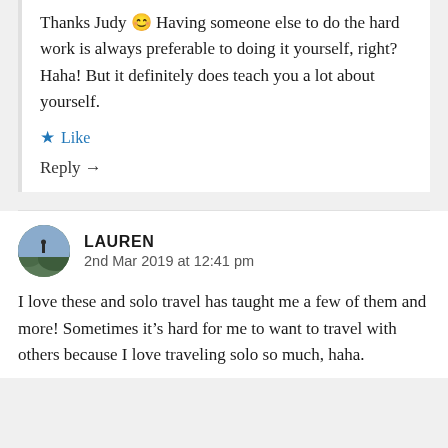Thanks Judy 😊 Having someone else to do the hard work is always preferable to doing it yourself, right? Haha! But it definitely does teach you a lot about yourself.
★ Like
Reply →
LAUREN
2nd Mar 2019 at 12:41 pm
I love these and solo travel has taught me a few of them and more! Sometimes it's hard for me to want to travel with others because I love traveling solo so much, haha.